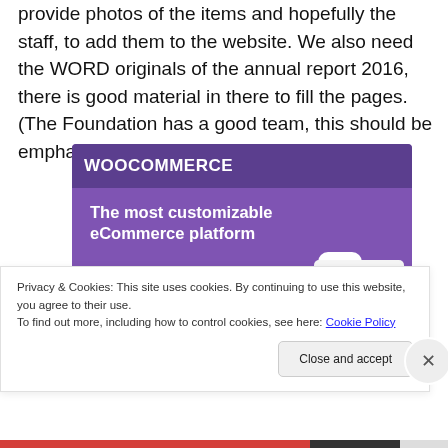provide photos of the items and hopefully the staff, to add them to the website. We also need the WORD originals of the annual report 2016, there is good material in there to fill the pages. (The Foundation has a good team, this should be emphasized as well.)
[Figure (screenshot): WooCommerce advertisement screenshot showing purple background with logo 'WOOCOMMERCE' at top, tagline 'The most customizable eCommerce platform', a shopping cart icon, a 'Start a new store' button, and a panel with text lines.]
Privacy & Cookies: This site uses cookies. By continuing to use this website, you agree to their use.
To find out more, including how to control cookies, see here: Cookie Policy
Close and accept